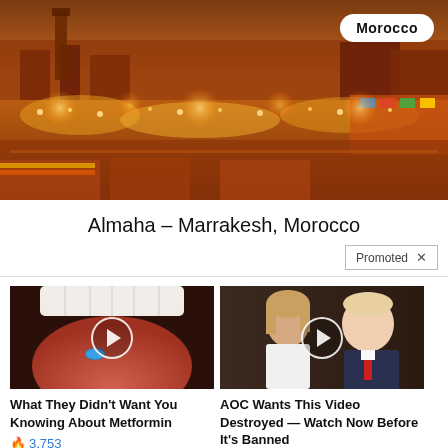[Figure (photo): Aerial/elevated view of a large busy market or square in Marrakesh, Morocco at dusk/night with warm orange and golden lighting, crowds of people, market stalls with colorful goods, and city skyline in background.]
Morocco
Almaha – Marrakesh, Morocco
Promoted ×
[Figure (photo): Close-up photo of a mouth/tongue with a blue pill on it, with a circular play button overlay indicating a video thumbnail.]
[Figure (photo): Photo of a man and woman (resembling public figures) standing together, with a circular play button overlay indicating a video thumbnail.]
What They Didn't Want You Knowing About Metformin
🔥 3,753
AOC Wants This Video Destroyed — Watch Now Before It's Banned
🔥 631,524